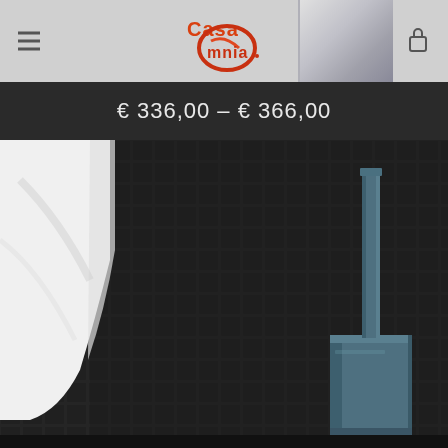[Figure (screenshot): Website header with Casa Omnia logo centered, hamburger menu icon on left, lock/cart icon on right, bathroom product image partially visible on right side]
€ 336,00 – € 366,00
[Figure (photo): Product photo of a dark teal/slate blue toilet brush holder with square base and long thin stem/handle, placed against black mosaic tile wall background with white toilet/ceramic piece visible on left]